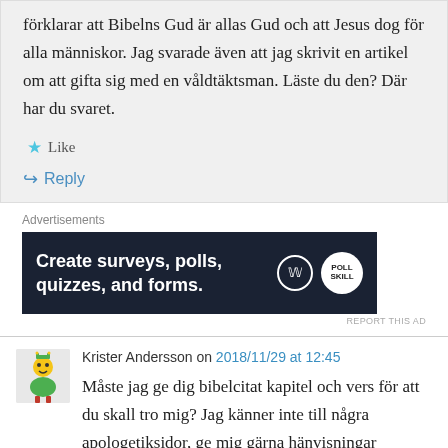förklarar att Bibelns Gud är allas Gud och att Jesus dog för alla människor. Jag svarade även att jag skrivit en artikel om att gifta sig med en våldtäktsman. Läste du den? Där har du svaret.
Like
Reply
Advertisements
[Figure (screenshot): Advertisement banner: dark navy background with white bold text 'Create surveys, polls, quizzes, and forms.' with WordPress and poll service logos on the right.]
REPORT THIS AD
Krister Andersson on 2018/11/29 at 12:45
Måste jag ge dig bibelcitat kapitel och vers för att du skall tro mig? Jag känner inte till några apologetiksidor, ge mig gärna hänvisningar